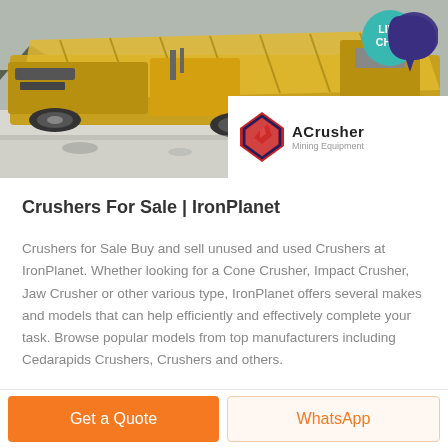[Figure (photo): Yellow mining crusher/conveyor equipment at an outdoor site with mountains in background. ACrusher Mining Equipment logo and LIVE CHAT bubble overlay on the right side.]
Crushers For Sale | IronPlanet
Crushers for Sale Buy and sell unused and used Crushers at IronPlanet. Whether looking for a Cone Crusher, Impact Crusher, Jaw Crusher or other various type, IronPlanet offers several makes and models that can help efficiently and effectively complete your task. Browse popular models from top manufacturers including Cedarapids Crushers, Crushers and others.
Get a Quote
WhatsApp